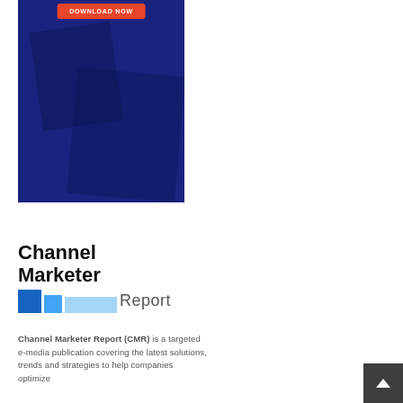[Figure (illustration): Dark blue banner image with a red 'DOWNLOAD NOW' button at the top, showing abstract blue shapes suggesting a professional/business scene]
[Figure (logo): Channel Marketer Report logo with bold black text 'Channel Marketer' and colored squares (dark blue, medium blue, light blue) alongside 'Report' text]
Channel Marketer Report (CMR) is a targeted e-media publication covering the latest solutions, trends and strategies to help companies optimize